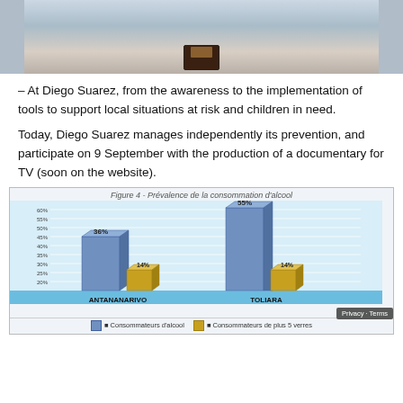[Figure (photo): Top portion of a photo showing what appears to be an indoor or outdoor setting with a blue/grey background and a dark object in the lower center.]
– At Diego Suarez, from the awareness to the implementation of tools to support local situations at risk and children in need.
Today, Diego Suarez manages independently its prevention, and participate on 9 September with the production of a documentary for TV (soon on the website).
[Figure (bar-chart): Figure 4 - Prévalence de la consommation d'alcool]
■ Consommateurs d'alcool    ■ Consommateurs de plus 5 verres